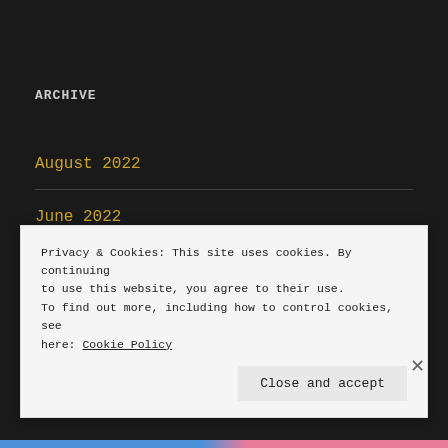ARCHIVE
August 2022
June 2022
May 2022
Privacy & Cookies: This site uses cookies. By continuing to use this website, you agree to their use.
To find out more, including how to control cookies, see here: Cookie Policy
Close and accept